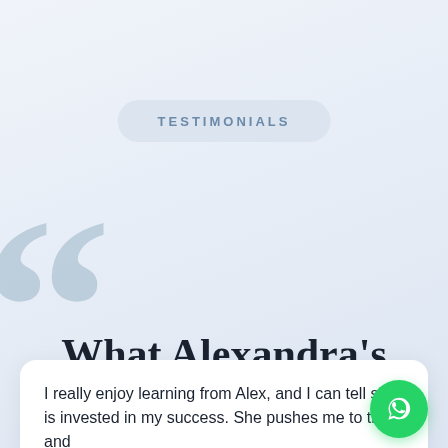TESTIMONIALS
What Alexandra's students are saying
I really enjoy learning from Alex, and I can tell she is invested in my success. She pushes me to think and